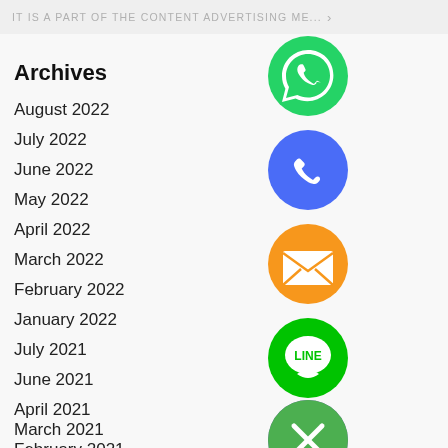IT IS A PART OF THE CONTENT ADVERTISING ME... >
Archives
August 2022
July 2022
June 2022
May 2022
April 2022
March 2022
February 2022
January 2022
July 2021
June 2021
April 2021
March 2021
February 2021
[Figure (logo): WhatsApp green circle icon with white phone handset in speech bubble]
[Figure (logo): Blue circle icon with white phone handset]
[Figure (logo): Orange circle icon with white envelope/mail symbol]
[Figure (logo): Green circle icon with LINE chat bubble text]
[Figure (logo): Purple circle icon with Viber phone symbol]
[Figure (logo): Green circle icon with white X/close button]